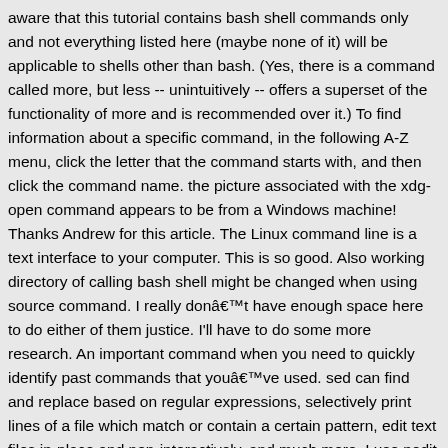aware that this tutorial contains bash shell commands only and not everything listed here (maybe none of it) will be applicable to shells other than bash. (Yes, there is a command called more, but less -- unintuitively -- offers a superset of the functionality of more and is recommended over it.) To find information about a specific command, in the following A-Z menu, click the letter that the command starts with, and then click the command name. the picture associated with the xdg-open command appears to be from a Windows machine! Thanks Andrew for this article. The Linux command line is a text interface to your computer. This is so good. Also working directory of calling bash shell might be changed when using source command. I really donât have enough space here to do either of them justice. I'll have to do some more research. An important command when you need to quickly identify past commands that youâve used. sed can find and replace based on regular expressions, selectively print lines of a file which match or contain a certain pattern, edit text files in-place and non-interactively, and much more. I use nedit